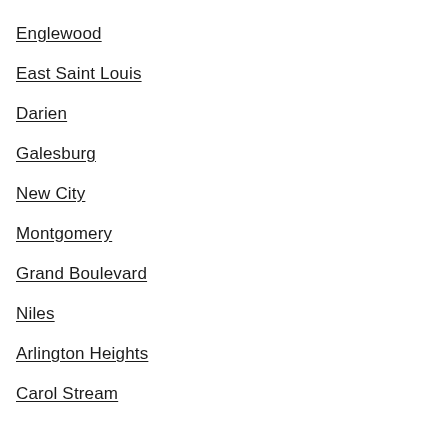Englewood
East Saint Louis
Darien
Galesburg
New City
Montgomery
Grand Boulevard
Niles
Arlington Heights
Carol Stream